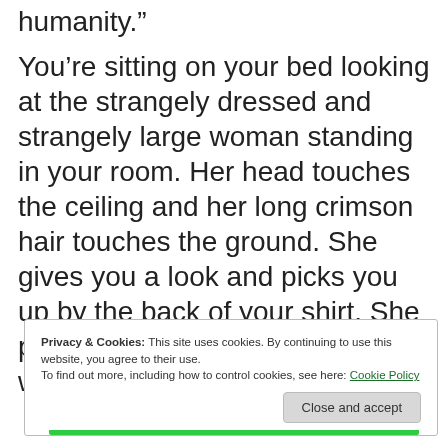humanity."
You’re sitting on your bed looking at the strangely dressed and strangely large woman standing in your room. Her head touches the ceiling and her long crimson hair touches the ground. She gives you a look and picks you up by the back of your shirt. She places you down onto your chair with a thud.
Privacy & Cookies: This site uses cookies. By continuing to use this website, you agree to their use.
To find out more, including how to control cookies, see here: Cookie Policy
Close and accept